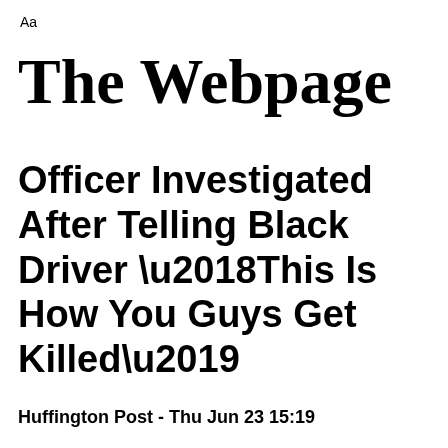Aa
The Webpage
Officer Investigated After Telling Black Driver ‘This Is How You Guys Get Killed’
Huffington Post - Thu Jun 23 15:19